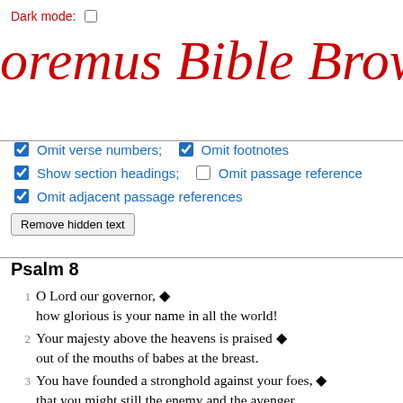Dark mode: ☐
oremus Bible Brow
☑ Omit verse numbers;  ☑ Omit footnotes
☑ Show section headings;  ☐ Omit passage reference
☑ Omit adjacent passage references
Remove hidden text
Psalm 8
1  O Lord our governor, ♦
  how glorious is your name in all the world!
2  Your majesty above the heavens is praised ♦
  out of the mouths of babes at the breast.
3  You have founded a stronghold against your foes, ♦
  that you might still the enemy and the avenger.
4  When I consider your heavens, the work of your fingers, ♦